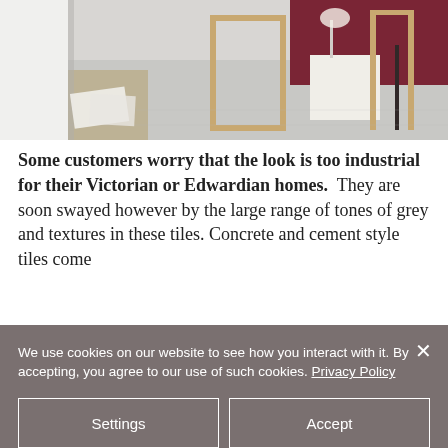[Figure (photo): Interior room scene with grey floor tiles, wooden frame structures, white cube furniture, lamp, and dark red/maroon accent wall]
Some customers worry that the look is too industrial for their Victorian or Edwardian homes. They are soon swayed however by the large range of tones of grey and textures in these tiles. Concrete and cement style tiles come
We use cookies on our website to see how you interact with it. By accepting, you agree to our use of such cookies. Privacy Policy